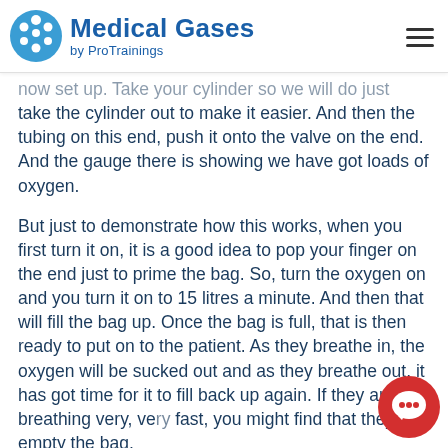Medical Gases by ProTrainings
now set up. Take your cylinder so we will do just take the cylinder out to make it easier. And then the tubing on this end, push it onto the valve on the end. And the gauge there is showing we have got loads of oxygen.
But just to demonstrate how this works, when you first turn it on, it is a good idea to pop your finger on the end just to prime the bag. So, turn the oxygen on and you turn it on to 15 litres a minute. And then that will fill the bag up. Once the bag is full, that is then ready to put on to the patient. As they breathe in, the oxygen will be sucked out and as they breathe out, it has got time for it to fill back up again. If they are breathing very, very fast, you might find that they do empty the bag,